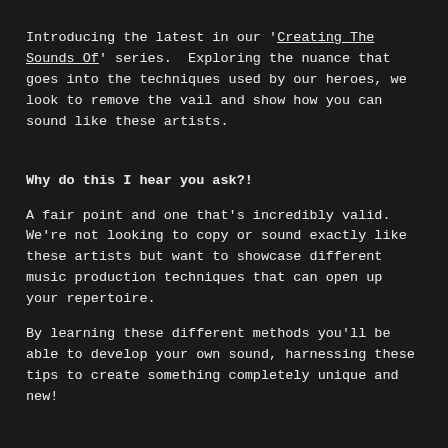Introducing the latest in our 'Creating The Sounds Of' series.  Exploring the nuance that goes into the techniques used by our heroes, we look to remove the vail and show how you can sound like these artists.
Why do this I hear you ask?!
A fair point and one that's incredibly valid. We're not looking to copy or sound exactly like these artists but want to showcase different music production techniques that can open up your repertoire.
By learning these different methods you'll be able to develop your own sound, harnessing these tips to create something completely unique and new!